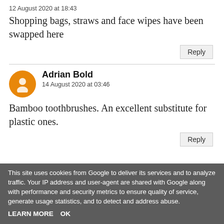12 August 2020 at 18:43
Shopping bags, straws and face wipes have been swapped here
Reply
Adrian Bold
14 August 2020 at 03:46
Bamboo toothbrushes. An excellent substitute for plastic ones.
Reply
This site uses cookies from Google to deliver its services and to analyze traffic. Your IP address and user-agent are shared with Google along with performance and security metrics to ensure quality of service, generate usage statistics, and to detect and address abuse.
LEARN MORE   OK